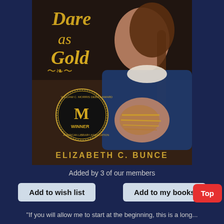[Figure (illustration): Book cover of 'Dare as Gold' by Elizabeth C. Bunce. Shows a young woman with braided hair in period clothing, hands bound with rope/gold cord. Gold decorative title text, Morris Award winner medallion in lower left. Dark moody background.]
Added by 3 of our members
Add to wish list
Add to my books
Top
"If you will allow me to start at the beginning, this is a long...